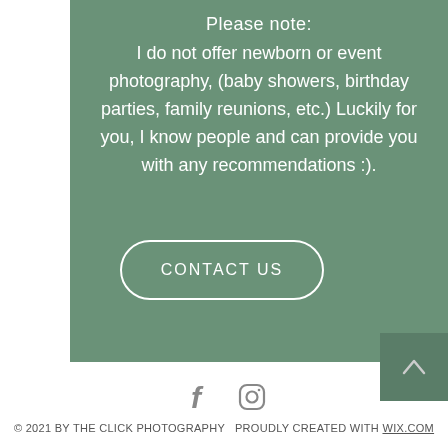Please note:
I do not offer newborn or event photography, (baby showers, birthday parties, family reunions, etc.) Luckily for you, I know people and can provide you with any recommendations :).
CONTACT US
[Figure (illustration): Social media icons: Facebook (f) and Instagram (camera circle) in gray]
© 2021 BY THE CLICK PHOTOGRAPHY  PROUDLY CREATED WITH WIX.COM